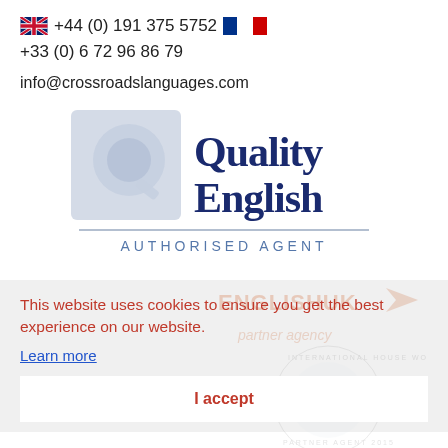🇬🇧 +44 (0) 191 375 5752  🇫🇷 +33 (0) 6 72 96 86 79
info@crossroadslanguages.com
[Figure (logo): Quality English Authorised Agent logo with a stylized Q in light blue and dark blue text reading 'Quality English' with 'AUTHORISED AGENT' below]
[Figure (logo): English UK partner agency logo and International House World Organisation Partner Agent 2015 circular logo in background]
This website uses cookies to ensure you get the best experience on our website.
Learn more
I accept